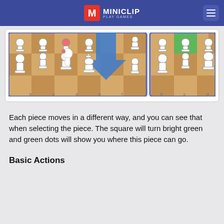MINICLIP PLAY GAMES
[Figure (screenshot): Chess board screenshot showing chess pieces with a hand cursor selecting a piece. The selected square is highlighted bright green. Shows white chess pieces (pawns, knights, bishops, queens, kings) on a brown and tan checkered board.]
Each piece moves in a different way, and you can see that when selecting the piece. The square will turn bright green and green dots will show you where this piece can go.
Basic Actions